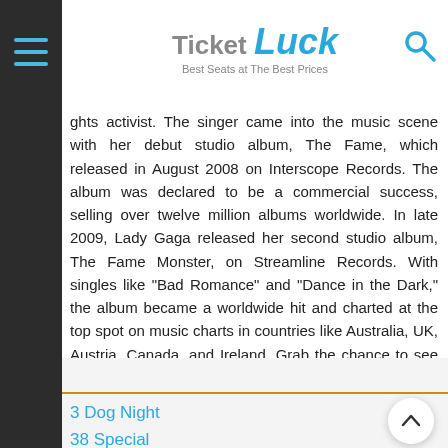Ticket Luck — Best Seats at The Best Prices
ghts activist. The singer came into the music scene with her debut studio album, The Fame, which released in August 2008 on Interscope Records. The album was declared to be a commercial success, selling over twelve million albums worldwide. In late 2009, Lady Gaga released her second studio album, The Fame Monster, on Streamline Records. With singles like "Bad Romance" and "Dance in the Dark," the album became a worldwide hit and charted at the top spot on music charts in countries like Australia, UK, Austria, Canada, and Ireland. Grab the chance to see this modern day pop icon perform live in your home city by purchasing your own Lady Gaga tickets.
3 Dog Night
38 Special